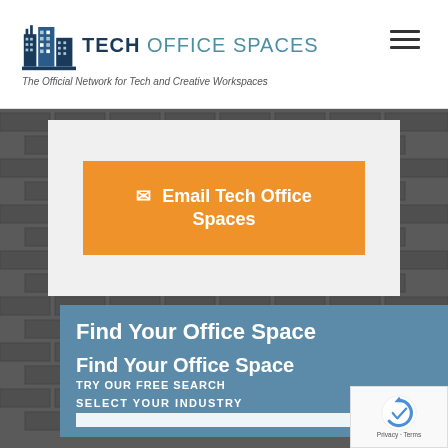TECH OFFICE SPACES — The Official Network for Tech and Creative Workspaces
[Figure (screenshot): Email Tech Office Spaces orange button with envelope icon]
Find Your Office Space
Find Your Office Space
TRY OUR FREE SEARCH
SELECT YOUR INDUSTRY
[Figure (logo): reCAPTCHA badge with Privacy and Terms links]